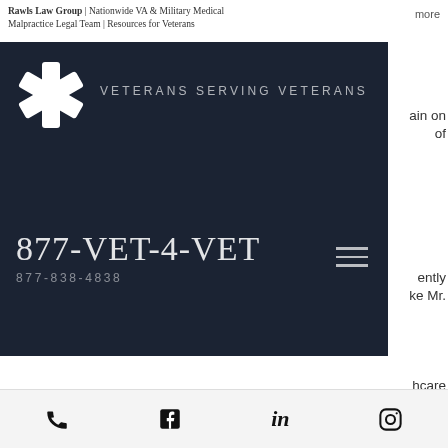Rawls Law Group | Nationwide VA & Military Medical Malpractice Legal Team | Resources for Veterans
[Figure (logo): Dark navy banner with white medical asterisk/star logo on left and text VETERANS SERVING VETERANS in spaced caps, phone number 877-VET-4-VET / 877-838-4838, and hamburger menu icon]
network in the United States, with 171 medical centers and more than a thousand outpatient clinics.  VA claims those medical centers and clinics serve more than 9 million enrolled veterans.  However, from 2009 to 2013, the outpatient visits increased from 73 million to over 86 million.
Phone, Facebook, LinkedIn, Instagram icons